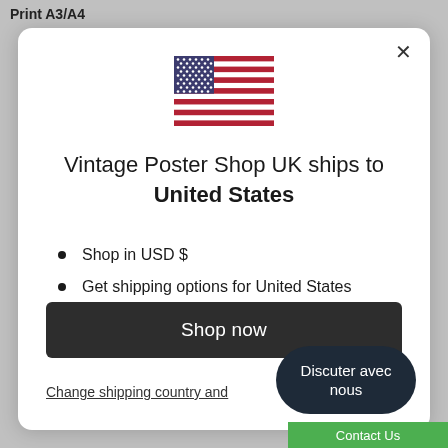Print A3/A4
[Figure (illustration): US flag icon]
Vintage Poster Shop UK ships to United States
Shop in USD $
Get shipping options for United States
Language set to English
Shop now
Change shipping country and
Discuter avec nous
Contact Us